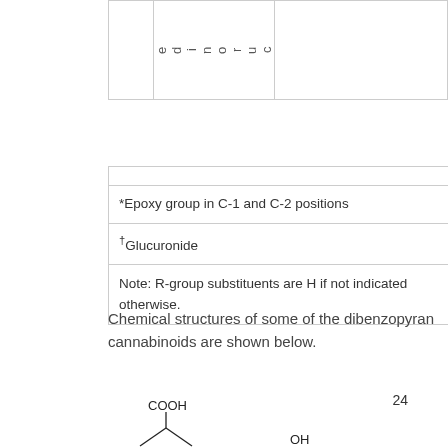|  | c
u
r
o
n
i
d
e |  |
|  |
| *Epoxy group in C-1 and C-2 positions |
| †Glucuronide |
| Note: R-group substituents are H if not indicated otherwise. |
Chemical structures of some of the dibenzopyran cannabinoids are shown below.
24
[Figure (engineering-diagram): Partial chemical structure diagram showing COOH group and ring structure at the bottom of the page, with OH label visible]